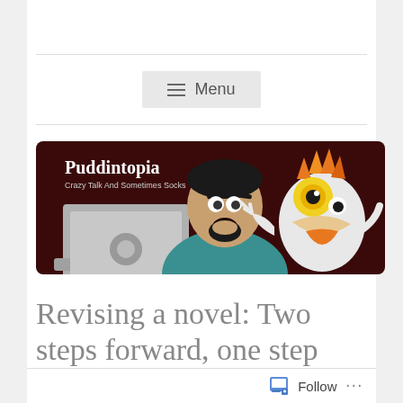Menu
[Figure (illustration): Puddintopia blog banner showing a cartoon man looking shocked at a laptop with a wild orange-haired creature behind him. Text reads 'Puddintopia' and 'Crazy Talk And Sometimes Socks']
Revising a novel: Two steps forward, one step into the Pit of Humiliation
Follow ...